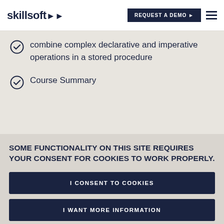skillsoft | REQUEST A DEMO
combine complex declarative and imperative operations in a stored procedure
Course Summary
SOME FUNCTIONALITY ON THIS SITE REQUIRES YOUR CONSENT FOR COOKIES TO WORK PROPERLY.
I CONSENT TO COOKIES
I WANT MORE INFORMATION